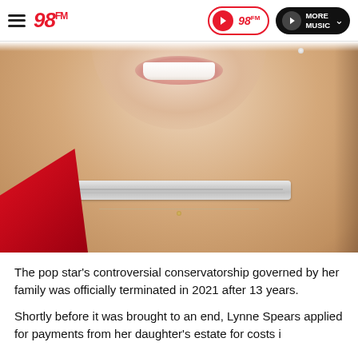98FM — navigation bar with logo, play button, and More Music button
[Figure (photo): Close-up photo of a woman smiling, wearing a silver mesh choker necklace and a thin chain necklace with a small pendant, dressed in a red outfit. The photo shows her neck and lower face area.]
The pop star's controversial conservatorship governed by her family was officially terminated in 2021 after 13 years.
Shortly before it was brought to an end, Lynne Spears applied for payments from her daughter's estate for costs incurred during the conservatorship, to the tune of $660,000.34